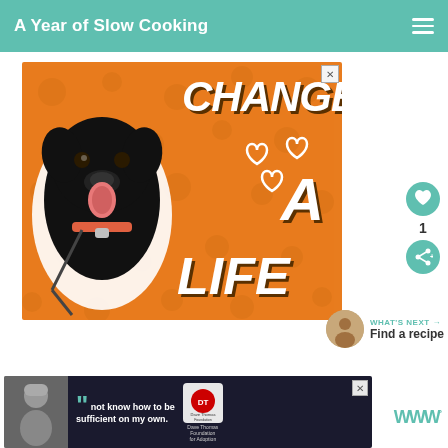A Year of Slow Cooking
[Figure (photo): Advertisement banner with orange background showing a black Labrador dog and text 'CHANGE A LIFE' with heart icons]
[Figure (infographic): What's Next section showing a person's avatar with text 'WHAT'S NEXT → Find a recipe']
[Figure (photo): Dave Thomas Foundation for Adoption advertisement at bottom showing a person and quote 'not know how to be sufficient on my own.']